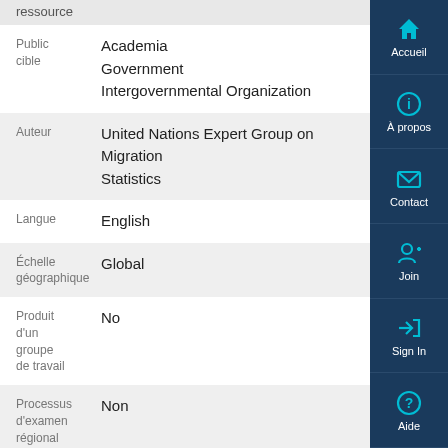ressource
| Field | Value |
| --- | --- |
| Public cible | Academia
Government
Intergovernmental Organization |
| Auteur | United Nations Expert Group on Migration Statistics |
| Langue | English |
| Échelle géographique | Global |
| Produit d'un groupe de travail | No |
| Processus d'examen régional | Non |
Accueil
À propos
Contact
Join
Sign In
Aide